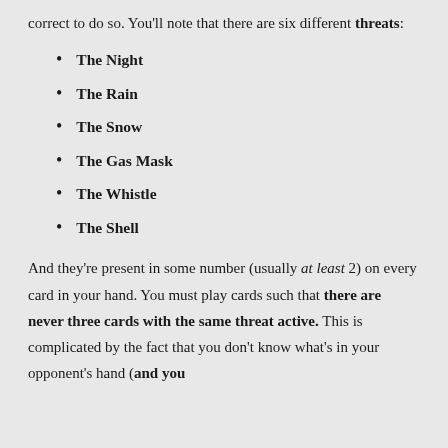correct to do so. You'll note that there are six different threats:
The Night
The Rain
The Snow
The Gas Mask
The Whistle
The Shell
And they're present in some number (usually at least 2) on every card in your hand. You must play cards such that there are never three cards with the same threat active. This is complicated by the fact that you don't know what's in your opponent's hand (and you